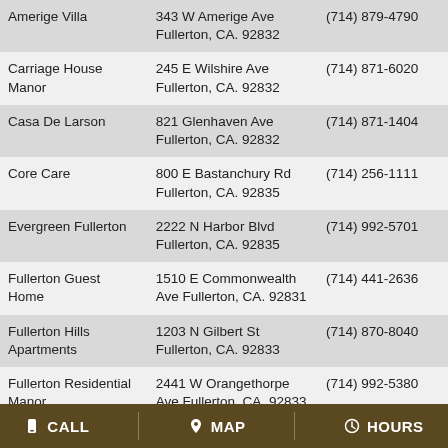| Name | Address | Phone |
| --- | --- | --- |
| Amerige Villa | 343 W Amerige Ave Fullerton, CA. 92832 | (714) 879-4790 |
| Carriage House Manor | 245 E Wilshire Ave Fullerton, CA. 92832 | (714) 871-6020 |
| Casa De Larson | 821 Glenhaven Ave Fullerton, CA. 92832 | (714) 871-1404 |
| Core Care | 800 E Bastanchury Rd Fullerton, CA. 92835 | (714) 256-1111 |
| Evergreen Fullerton | 2222 N Harbor Blvd Fullerton, CA. 92835 | (714) 992-5701 |
| Fullerton Guest Home | 1510 E Commonwealth Ave Fullerton, CA. 92831 | (714) 441-2636 |
| Fullerton Hills Apartments | 1203 N Gilbert St Fullerton, CA. 92833 | (714) 870-8040 |
| Fullerton Residential Manor | 2441 W Orangethorpe Ave Fullerton, CA. 92833 | (714) 992-5380 |
| Gordon Lane Convalescent Hosp | 1821 E Chapman Ave Fullerton, CA. 92831 | (714) 879-7301 |
| Hartford Home Care | 2424 Hartford Ave Fullerton... | (714) 961-8548 |
CALL  MAP  HOURS